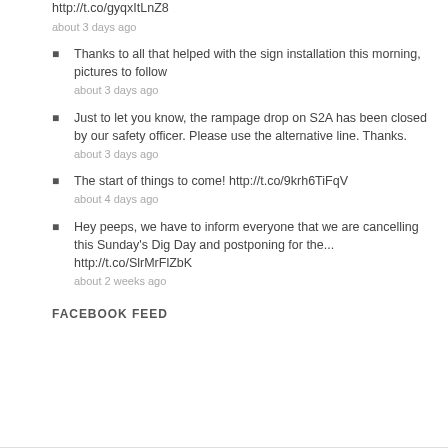http://t.co/gyqxItLnZ8
about 3 days ago
Thanks to all that helped with the sign installation this morning, pictures to follow
about 3 days ago
Just to let you know, the rampage drop on S2A has been closed by our safety officer. Please use the alternative line. Thanks.
about 3 days ago
The start of things to come! http://t.co/9krh6TiFqV
about 4 days ago
Hey peeps, we have to inform everyone that we are cancelling this Sunday's Dig Day and postponing for the... http://t.co/SlrMrFlZbK
about 2 weeks ago
FACEBOOK FEED